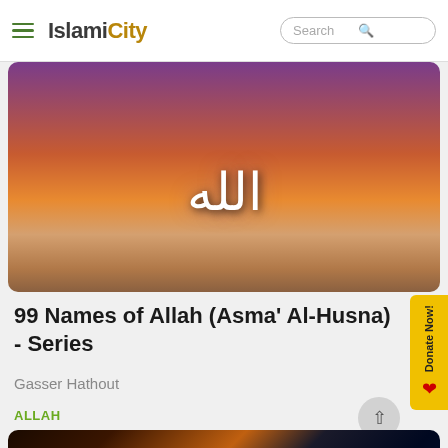IslamiCity
[Figure (photo): Sunset/sunrise over desert dunes with Arabic calligraphy text reading 'Allah' in white against a purple-orange sky]
99 Names of Allah (Asma' Al-Husna) - Series
Gasser Hathout
ALLAH
[Figure (photo): Dark stormy sky with lightning bolts — orange fire/lightning on left side and blue/white lightning on right side]